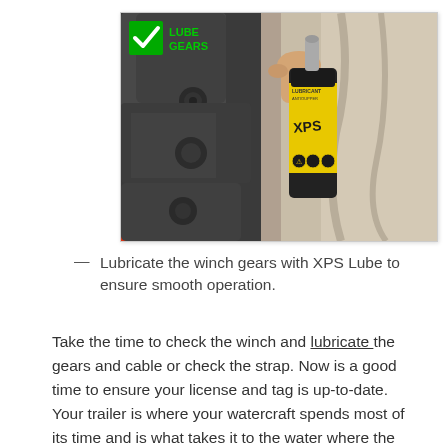[Figure (photo): A person's hand holding a yellow XPS Lube spray can, spraying lubricant on dark mechanical winch gears. A green checkmark and 'LUBE GEARS' label appears in the upper left corner of the photo.]
Lubricate the winch gears with XPS Lube to ensure smooth operation.
Take the time to check the winch and lubricate the gears and cable or check the strap. Now is a good time to ensure your license and tag is up-to-date. Your trailer is where your watercraft spends most of its time and is what takes it to the water where the fun begins.